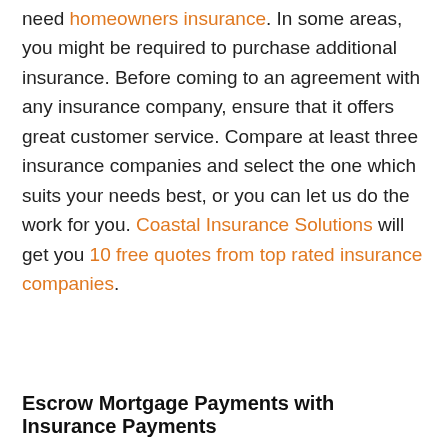need homeowners insurance. In some areas, you might be required to purchase additional insurance. Before coming to an agreement with any insurance company, ensure that it offers great customer service. Compare at least three insurance companies and select the one which suits your needs best, or you can let us do the work for you. Coastal Insurance Solutions will get you 10 free quotes from top rated insurance companies.
Escrow Mortgage Payments with Insurance Payments